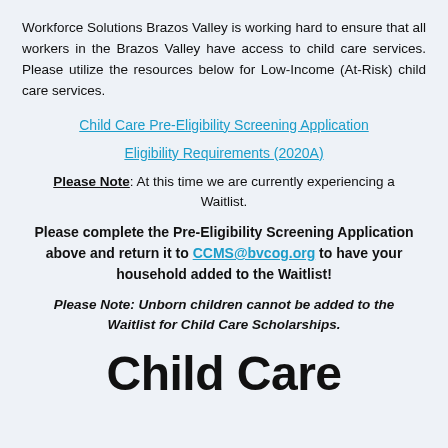Workforce Solutions Brazos Valley is working hard to ensure that all workers in the Brazos Valley have access to child care services. Please utilize the resources below for Low-Income (At-Risk) child care services.
Child Care Pre-Eligibility Screening Application
Eligibility Requirements (2020A)
Please Note: At this time we are currently experiencing a Waitlist.
Please complete the Pre-Eligibility Screening Application above and return it to CCMS@bvcog.org to have your household added to the Waitlist!
Please Note: Unborn children cannot be added to the Waitlist for Child Care Scholarships.
Child Care